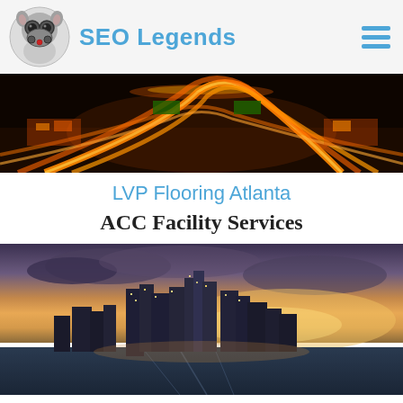SEO Legends
[Figure (photo): Aerial night view of highway interchange with orange light trails]
LVP Flooring Atlanta
ACC Facility Services
[Figure (photo): Aerial dusk view of city skyline with waterfront and dramatic sky]